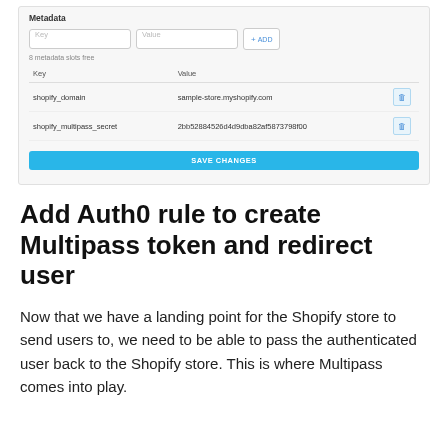[Figure (screenshot): UI screenshot showing a Metadata section with Key/Value input fields, an ADD button, '8 metadata slots free' label, a table with two rows (shopify_domain: sample-store.myshopify.com, shopify_multipass_secret: 2bb52884526d4d9dba82af5873798f00) each with a delete icon, and a SAVE CHANGES button.]
Add Auth0 rule to create Multipass token and redirect user
Now that we have a landing point for the Shopify store to send users to, we need to be able to pass the authenticated user back to the Shopify store. This is where Multipass comes into play.